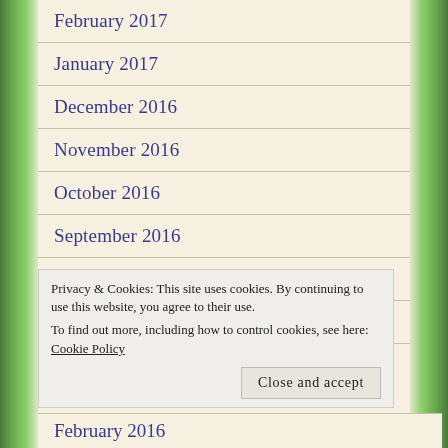February 2017
January 2017
December 2016
November 2016
October 2016
September 2016
August 2016
July 2016
June 2016
Privacy & Cookies: This site uses cookies. By continuing to use this website, you agree to their use.
To find out more, including how to control cookies, see here:
Cookie Policy
Close and accept
February 2016